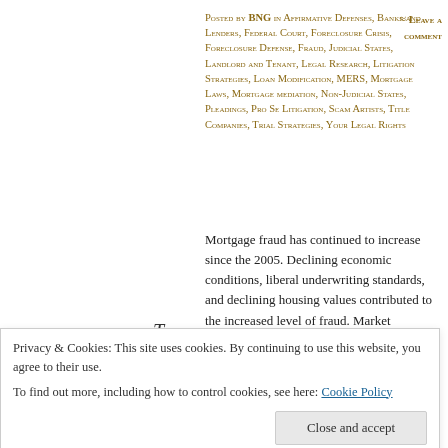Posted by BNG in Affirmative Defenses, Banks and Lenders, Federal Court, Foreclosure Crisis, Foreclosure Defense, Fraud, Judicial States, Landlord and Tenant, Legal Research, Litigation Strategies, Loan Modification, MERS, Mortgage Laws, Mortgage mediation, Non-Judicial States, Pleadings, Pro Se Litigation, Scam Artists, Title Companies, Trial Strategies, Your Legal Rights
≈ Leave a comment
Mortgage fraud has continued to increase since the 2005. Declining economic conditions, liberal underwriting standards, and declining housing values contributed to the increased level of fraud. Market participants are perpetrating mortgage fraud by modifying old schemes, such as property flip, builder-
Tags
Appraiser, Asset Rental, Borrower,
Agent, Double
This Post defines schemes as the big picture or secret
Privacy & Cookies: This site uses cookies. By continuing to use this website, you agree to their use. To find out more, including how to control cookies, see here: Cookie Policy
Close and accept